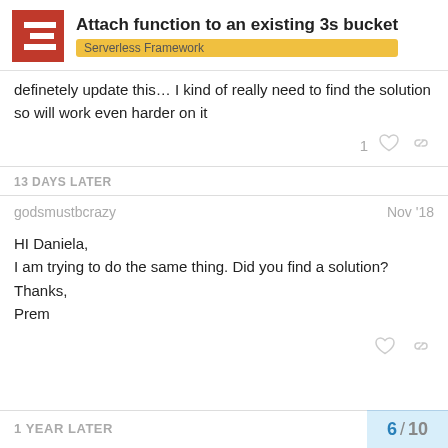Attach function to an existing 3s bucket — Serverless Framework
definetely update this… I kind of really need to find the solution so will work even harder on it
13 DAYS LATER
godsmustbcrazy   Nov '18
HI Daniela,
I am trying to do the same thing. Did you find a solution?
Thanks,
Prem
1 YEAR LATER
6 / 10